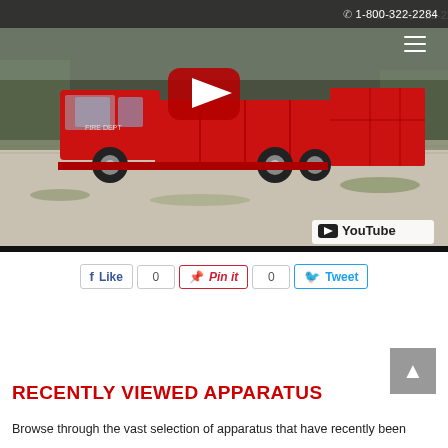📞 1-800-322-2284
[Figure (screenshot): A red fire truck parked on a gravel lot with grass in background, shown as a YouTube video embed with a red play button overlay and YouTube watermark in the bottom right corner.]
Like   0   Pin it   0   Tweet
RECENTLY VIEWED APPARATUS
Browse through the vast selection of apparatus that have recently been